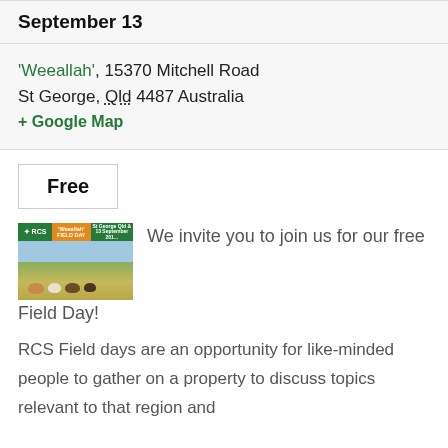September 13
'Weeallah', 15370 Mitchell Road St George, Qld 4487 Australia
+ Google Map
Free
[Figure (photo): RCS Field Day promotional image showing cattle grazing in a field with green and orange header banners]
We invite you to join us for our free Field Day!
RCS Field days are an opportunity for like-minded people to gather on a property to discuss topics relevant to that region and